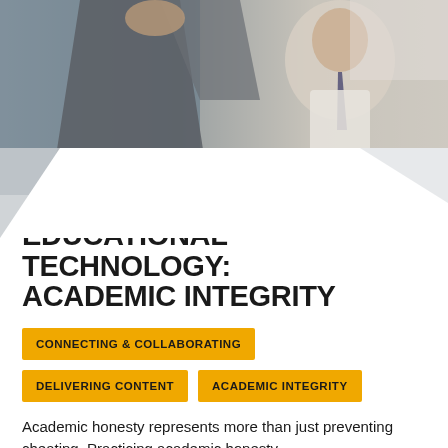[Figure (photo): A person with their hand/arm raised, wearing a dark sweater, with a man in a light suit and tie in the background, blurred.]
EDUCATIONAL TECHNOLOGY: ACADEMIC INTEGRITY
CONNECTING & COLLABORATING
DELIVERING CONTENT
ACADEMIC INTEGRITY
Academic honesty represents more than just preventing cheating. Practicing academic honesty